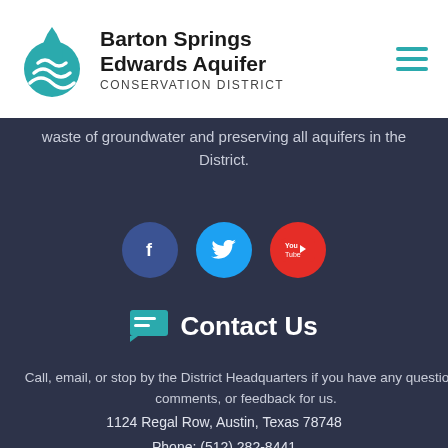[Figure (logo): Barton Springs Edwards Aquifer Conservation District logo with teal water drop icon]
waste of groundwater and preserving all aquifers in the District.
[Figure (infographic): Three social media icon circles: Facebook (dark blue), Twitter (light blue), YouTube (red)]
Contact Us
Call, email, or stop by the District Headquarters if you have any questions, comments, or feedback for us.
1124 Regal Row, Austin, Texas 78748
Phone: (512) 282-8441
Fax: (512) 282-7016
bseacd@bseacd.org